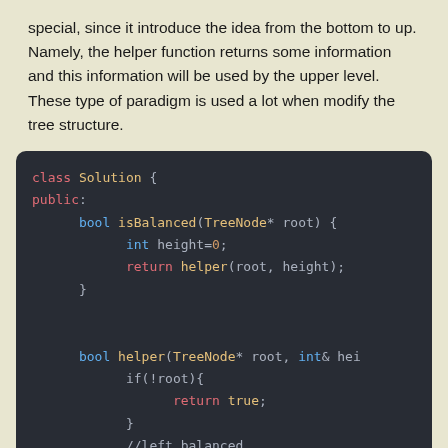special, since it introduce the idea from the bottom to up. Namely, the helper function returns some information and this information will be used by the upper level. These type of paradigm is used a lot when modify the tree structure.
[Figure (screenshot): Dark-themed code editor screenshot showing C++ class Solution with isBalanced and helper methods for checking balanced binary tree.]